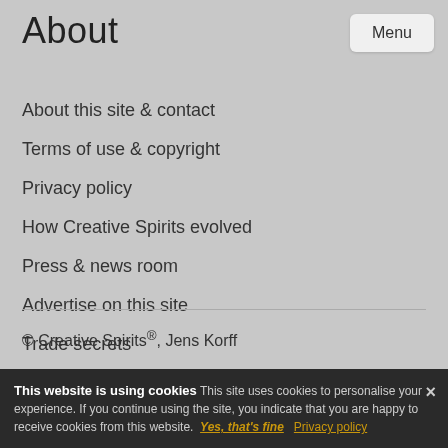About
About this site & contact
Terms of use & copyright
Privacy policy
How Creative Spirits evolved
Press & news room
Advertise on this site
Trade secrets
© Creative Spirits®, Jens Korff
This website is using cookies This site uses cookies to personalise your experience. If you continue using the site, you indicate that you are happy to receive cookies from this website. Yes, that's fine Privacy policy